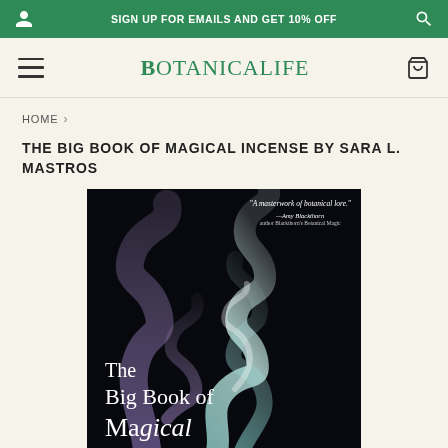SIGN UP FOR EMAILS AND GET 10% OFF
BOTANICALIFE
HOME >
THE BIG BOOK OF MAGICAL INCENSE BY SARA L. MASTROS
[Figure (photo): Book cover of 'The Big Book of Magical Incense' by Sara L. Mastros, showing swirling smoke (purple and teal/white) against a dark black background. A blurb reads 'A masterwork of botanical lore.' —Amy Blackthorn, author Blackthorn's Botanical Magic. The bottom of the cover shows the title text in white serif font: 'The Big Book of Ma[gical]' partially visible.]